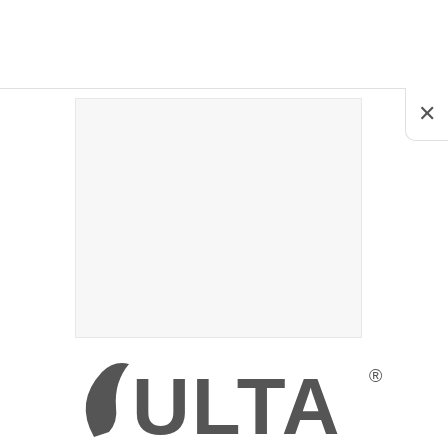[Figure (screenshot): UI screenshot showing a modal/overlay with a close button (×) in the upper right area, a light gray rectangular content panel in the center-upper area, and the Ulta Beauty logo partially visible at the bottom of the page. The background is white with a thin horizontal dividing line near the top.]
[Figure (logo): Ulta Beauty logo text partially visible at the bottom — large bold dark gray letters spelling ULTA with a registered trademark symbol, along with a partial arc/swoosh element to the left.]